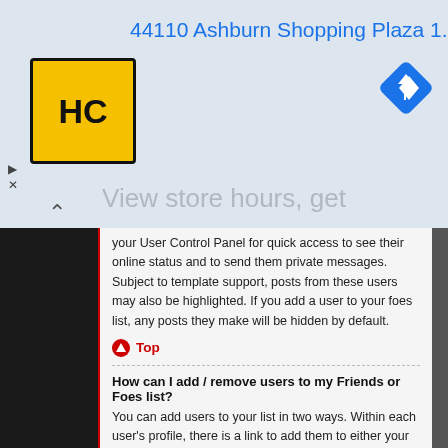[Figure (screenshot): Advertisement banner showing '44110 Ashburn Shopping Plaza 1.' with HC logo and navigation icon, and 'View store hours, get' text]
your User Control Panel for quick access to see their online status and to send them private messages. Subject to template support, posts from these users may also be highlighted. If you add a user to your foes list, any posts they make will be hidden by default.
Top
How can I add / remove users to my Friends or Foes list?
You can add users to your list in two ways. Within each user's profile, there is a link to add them to either your Friend or Foe list. Alternatively, from your User Control Panel, you can directly add users by entering their member name. You may also remove users from your list using the same page.
Top
Searching the Forums
How can I search a forum or forums?